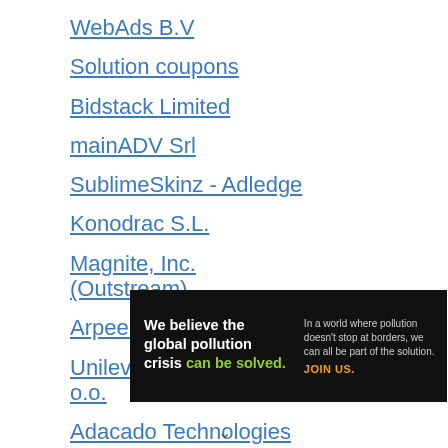WebAds B.V
Solution coupons
Bidstack Limited
mainADV Srl
SublimeSkinz - Adledge
Konodrac S.L.
Magnite, Inc. (Outstream)
Arpeely Ltd.
Unilever Polska sp. z o.o.
Adacado Technologies
[Figure (screenshot): Pure Earth advertisement banner with text 'We believe the global pollution crisis can be solved.' and 'In a world where pollution doesn't stop at borders, we can all be part of the solution. JOIN US.' with Pure Earth logo on dark background]